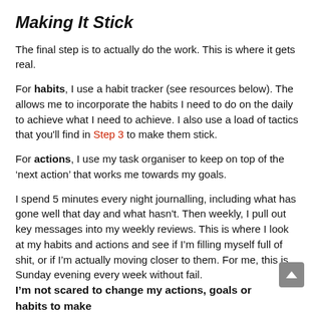Making It Stick
The final step is to actually do the work. This is where it gets real.
For habits, I use a habit tracker (see resources below). The allows me to incorporate the habits I need to do on the daily to achieve what I need to achieve. I also use a load of tactics that you'll find in Step 3 to make them stick.
For actions, I use my task organiser to keep on top of the ‘next action’ that works me towards my goals.
I spend 5 minutes every night journalling, including what has gone well that day and what hasn’t. Then weekly, I pull out key messages into my weekly reviews. This is where I look at my habits and actions and see if I’m filling myself full of shit, or if I’m actually moving closer to them. For me, this is Sunday evening every week without fail.
I’m not scared to change my actions, goals or habits to make